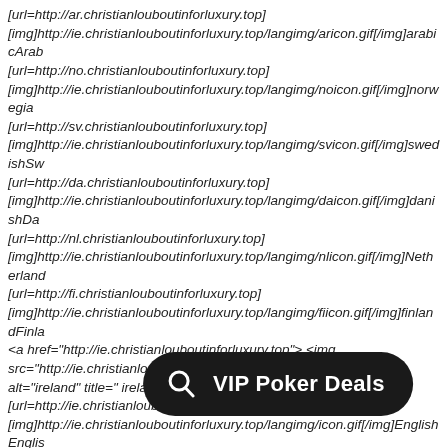[url=http://ar.christianlouboutinforluxury.top] [img]http://ie.christianlouboutinforluxury.top/langimg/aricon.gif[/img]arabicArab [url=http://no.christianlouboutinforluxury.top] [img]http://ie.christianlouboutinforluxury.top/langimg/noicon.gif[/img]norwegian [url=http://sv.christianlouboutinforluxury.top] [img]http://ie.christianlouboutinforluxury.top/langimg/svicon.gif[/img]swedishSw [url=http://da.christianlouboutinforluxury.top] [img]http://ie.christianlouboutinforluxury.top/langimg/daicon.gif[/img]danishDan [url=http://nl.christianlouboutinforluxury.top] [img]http://ie.christianlouboutinforluxury.top/langimg/nlicon.gif[/img]Nederland [url=http://fi.christianlouboutinforluxury.top] [img]http://ie.christianlouboutinforluxury.top/langimg/fiicon.gif[/img]finlandFinla <a href="http://ie.christianlouboutinforluxury.top"> <img src="http://ie.christianlouboutinforluxury.top/langimg/gaicon.gif" alt="ireland" title=" ireland " height="15" width="24">Ireland</a> [url=http://ie.christianlouboutinforluxury.top/] [img]http://ie.christianlouboutinforluxury.top/langimg/icon.gif[/img]EnglishEngli Welcome! [url=http://ie.christianlouboutinforluxury.top/index.php?main_page=login]Sign In[/url] or [url=http://ie.christianlouboutinforluxury.top/index.php?main_page=create_account]Register[/url] [url=http://ie.christianlouboutinforluxury.top/index.php?main_page=shopping_cart] [img]http://ie.christianlouboutinforluxury.top/includes/templates/polo/images/sp by Zen Cart :: The Art of E-Commerce[/url]Your cart is empty <a href="http://ie.christianlouboutinforlux src="http://ie.christianlouboutinforluxu alt="Powered by Zen Cart :: The Art of E- Cart :: The Art of E-Commerce " width="221" height="96" /></a> [url=http://ie.christianlouboutinforluxury.top/index.php]Baile[/url] <a
[Figure (other): Dark rounded overlay button with chat/search icon and text 'VIP Poker Deals']